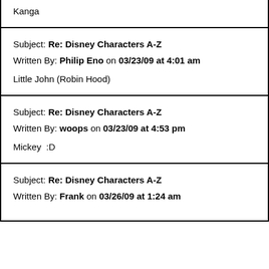Kanga
Subject: Re: Disney Characters A-Z
Written By: Philip Eno on 03/23/09 at 4:01 am
Little John (Robin Hood)
Subject: Re: Disney Characters A-Z
Written By: woops on 03/23/09 at 4:53 pm
Mickey  :D
Subject: Re: Disney Characters A-Z
Written By: Frank on 03/26/09 at 1:24 am